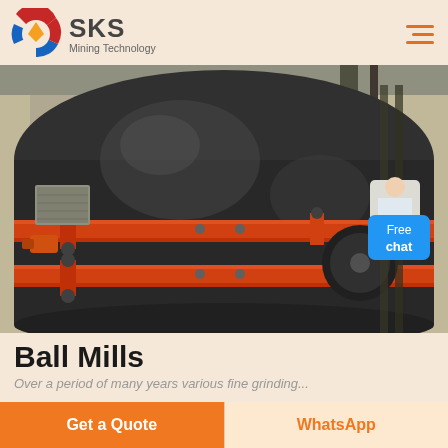[Figure (logo): SKS Mining Technology company logo with circular red/blue/orange emblem and company name]
[Figure (photo): Close-up photo of a large industrial ball mill with a dark cylindrical drum wrapped with orange/red banding straps, mounted in a factory/warehouse setting]
Ball Mills
Over a period of many years various fine grinding...
Get a Quote
WhatsApp